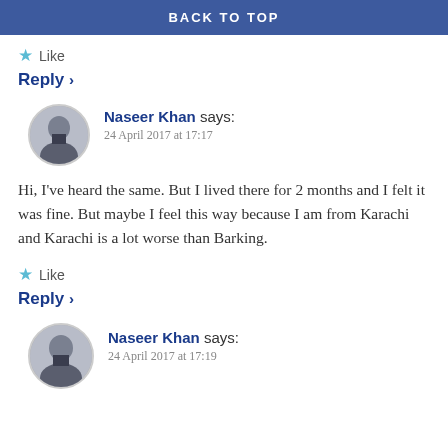BACK TO TOP
★ Like
Reply ›
Naseer Khan says: 24 April 2017 at 17:17
Hi, I've heard the same. But I lived there for 2 months and I felt it was fine. But maybe I feel this way because I am from Karachi and Karachi is a lot worse than Barking.
★ Like
Reply ›
Naseer Khan says: 24 April 2017 at 17:19